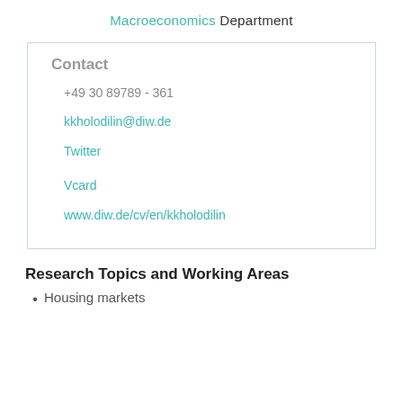Macroeconomics Department
Contact
+49 30 89789 - 361
kkholodilin@diw.de
Twitter
Vcard
www.diw.de/cv/en/kkholodilin
Research Topics and Working Areas
Housing markets